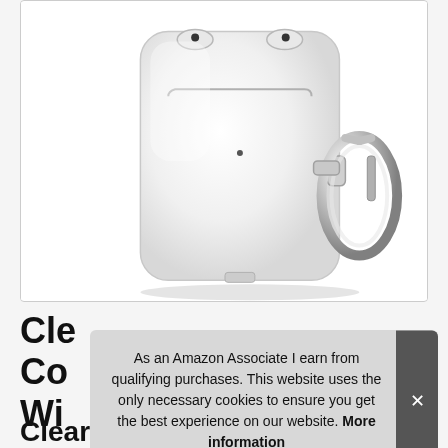[Figure (photo): Clear AirPods case cover with a silver carabiner clip attached to the right side, shown from a front-left angle on a white background inside a rounded-corner white card.]
Cle Co Wi Clear AIRSPO Airpods Case Cover
As an Amazon Associate I earn from qualifying purchases. This website uses the only necessary cookies to ensure you get the best experience on our website. More information